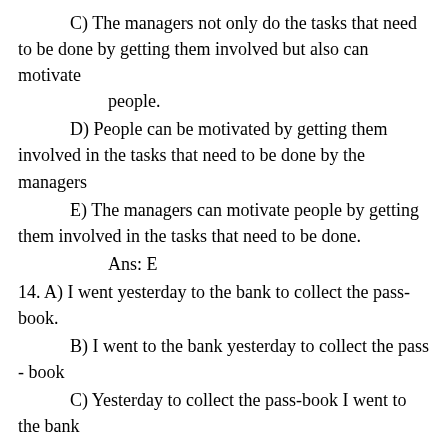C) The managers not only do the tasks that need to be done by getting them involved but also can motivate people.
D) People can be motivated by getting them involved in the tasks that need to be done by the managers
E) The managers can motivate people by getting them involved in the tasks that need to be done.
Ans: E
14. A) I went yesterday to the bank to collect the pass-book.
B) I went to the bank yesterday to collect the pass - book
C) Yesterday to collect the pass-book I went to the bank